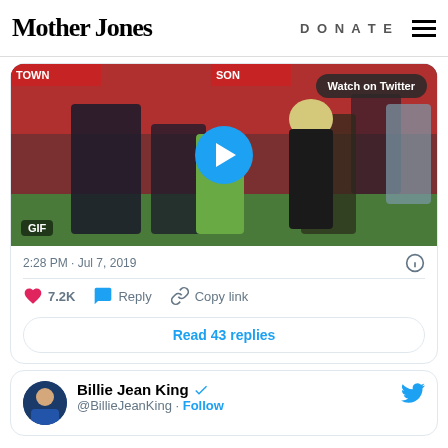Mother Jones | DONATE
[Figure (screenshot): Embedded Twitter video showing soccer players on a field with a play button overlay. Labels: Watch on Twitter, GIF.]
2:28 PM · Jul 7, 2019
7.2K   Reply   Copy link
Read 43 replies
Billie Jean King @BillieJeanKing · Follow